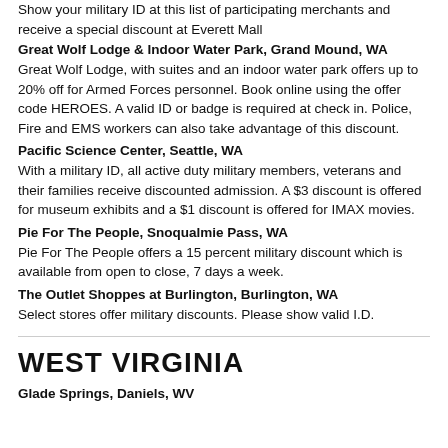Show your military ID at this list of participating merchants and receive a special discount at Everett Mall
Great Wolf Lodge & Indoor Water Park, Grand Mound, WA
Great Wolf Lodge, with suites and an indoor water park offers up to 20% off for Armed Forces personnel. Book online using the offer code HEROES. A valid ID or badge is required at check in. Police, Fire and EMS workers can also take advantage of this discount.
Pacific Science Center, Seattle, WA
With a military ID, all active duty military members, veterans and their families receive discounted admission. A $3 discount is offered for museum exhibits and a $1 discount is offered for IMAX movies.
Pie For The People, Snoqualmie Pass, WA
Pie For The People offers a 15 percent military discount which is available from open to close, 7 days a week.
The Outlet Shoppes at Burlington, Burlington, WA
Select stores offer military discounts. Please show valid I.D.
WEST VIRGINIA
Glade Springs, Daniels, WV